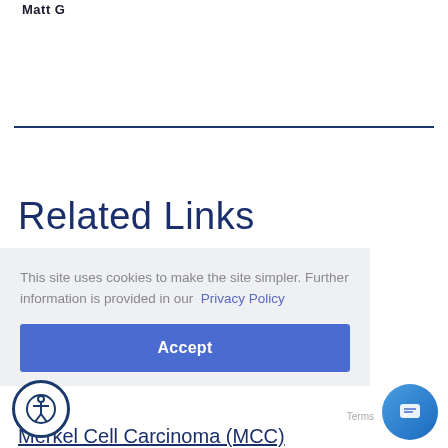Matt G
Related Links
This site uses cookies to make the site simpler. Further information is provided in our Privacy Policy
Accept
Merkel Cell Carcinoma (MCC)